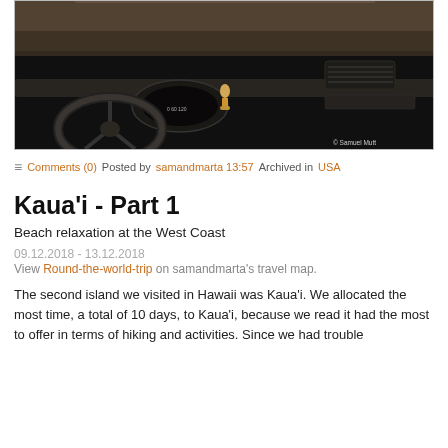[Figure (photo): Interior view from inside a car showing the dashboard, steering wheel arc, and a hula dancer bobblehead on the instrument cluster. Road visible through windshield. Copyright Samuel Mutt watermark in bottom right.]
≡ Comments (0) Posted by samandmarta 13:57 Archived in USA
Kaua'i - Part 1
Beach relaxation at the West Coast
09.12.2018 - 13.12.2018
View Round-the-world-trip on samandmarta's travel map.
The second island we visited in Hawaii was Kaua'i. We allocated the most time, a total of 10 days, to Kaua'i, because we read it had the most to offer in terms of hiking and activities. Since we had trouble